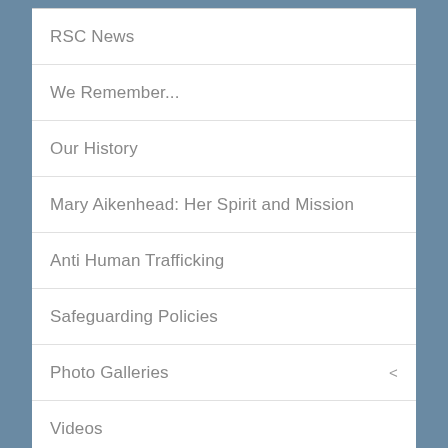RSC News
We Remember...
Our History
Mary Aikenhead: Her Spirit and Mission
Anti Human Trafficking
Safeguarding Policies
Photo Galleries
Videos
Login
Links